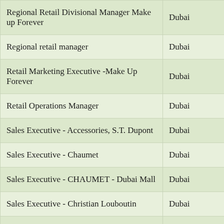| Job Title | Location |
| --- | --- |
| Regional Retail Divisional Manager Make up Forever | Dubai |
| Regional retail manager | Dubai |
| Retail Marketing Executive -Make Up Forever | Dubai |
| Retail Operations Manager | Dubai |
| Sales Executive - Accessories, S.T. Dupont | Dubai |
| Sales Executive - Chaumet | Dubai |
| Sales Executive - CHAUMET - Dubai Mall | Dubai |
| Sales Executive - Christian Louboutin | Dubai |
| Sales Executive - Christian Louboutin | Dubai |
| Sales Executive - Fashion & ... | Dubai |